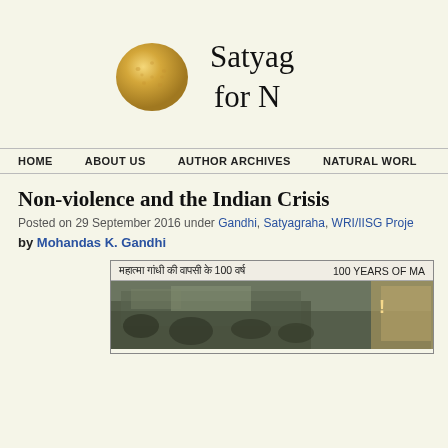[Figure (logo): Golden/yellow textured sphere logo for Satyagraha website]
Satyag...
for N...
HOME   ABOUT US   AUTHOR ARCHIVES   NATURAL WORL...
Non-violence and the Indian Crisis
Posted on 29 September 2016 under Gandhi, Satyagraha, WRI/IISG Proje...
by Mohandas K. Gandhi
[Figure (photo): Historical photo banner with Hindi text 'महात्मा गांधी की वापसी के 100 वर्ष' and '100 YEARS OF MA...' with crowd photograph]